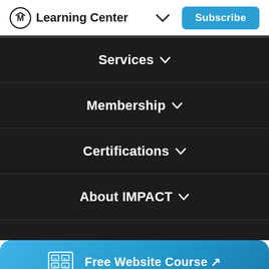Learning Center
Services
Membership
Certifications
About IMPACT
Free Website Course ↗